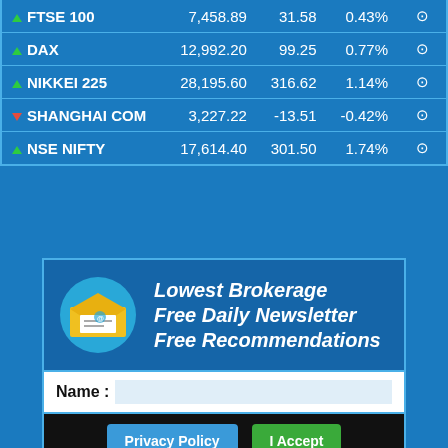|  | Index | Value | Change | % Change |  |
| --- | --- | --- | --- | --- | --- |
| ▲ | FTSE 100 | 7,458.89 | 31.58 | 0.43% | ⊙ |
| ▲ | DAX | 12,992.20 | 99.25 | 0.77% | ⊙ |
| ▲ | NIKKEI 225 | 28,195.60 | 316.62 | 1.14% | ⊙ |
| ▼ | SHANGHAI COM | 3,227.22 | -13.51 | -0.42% | ⊙ |
| ▲ | NSE NIFTY | 17,614.40 | 301.50 | 1.74% | ⊙ |
[Figure (infographic): Lowest Brokerage / Free Daily Newsletter / Free Recommendations promotional banner with email envelope icon]
Name :
Privacy Policy | I Accept
We use cookies to track usage and preferences.
Join